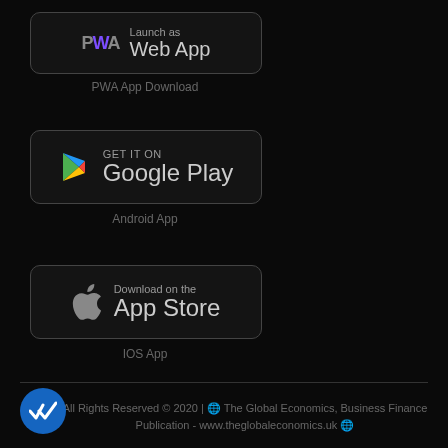[Figure (screenshot): PWA Launch as Web App button - dark background with PWA logo and text]
PWA App Download
[Figure (screenshot): GET IT ON Google Play button - dark background with Google Play logo and text]
Android App
[Figure (screenshot): Download on the App Store button - dark background with Apple logo and text]
IOS App
All Rights Reserved © 2020 | The Global Economics, Business Finance Publication - www.theglobaleconomics.uk